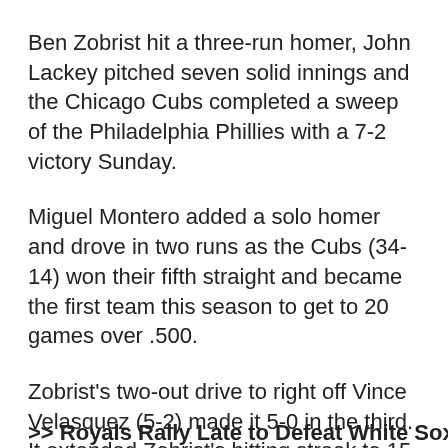Ben Zobrist hit a three-run homer, John Lackey pitched seven solid innings and the Chicago Cubs completed a sweep of the Philadelphia Phillies with a 7-2 victory Sunday.
Miguel Montero added a solo homer and drove in two runs as the Cubs (34-14) won their fifth straight and became the first team this season to get to 20 games over .500.
Zobrist's two-out drive to right off Vince Velasquez (5-2) made it 5-0 in the third. It extended Zobrist's hitting streak to 15 games and put the Cubs on the way to their sixth series sweep.
>> Royals Rally Late to Defeat White Sox